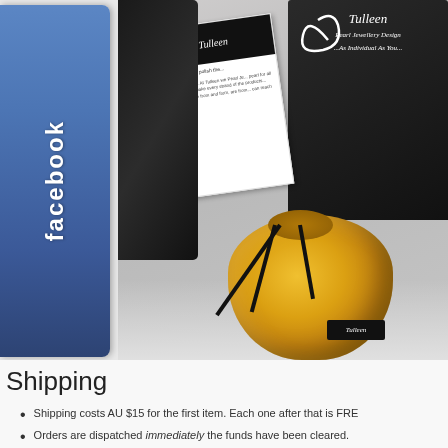[Figure (photo): Photo of Tulleen Pearl Jewellery Design packaging: a golden satin drawstring pouch with the Tulleen logo tag, a black gift bag with the Tulleen brand name visible, and an instruction/care card, arranged on a white surface. A Facebook button/badge is overlaid on the left side of the image.]
Shipping
Shipping costs AU $15 for the first item. Each one after that is FRE
Orders are dispatched immediately the funds have been cleared.